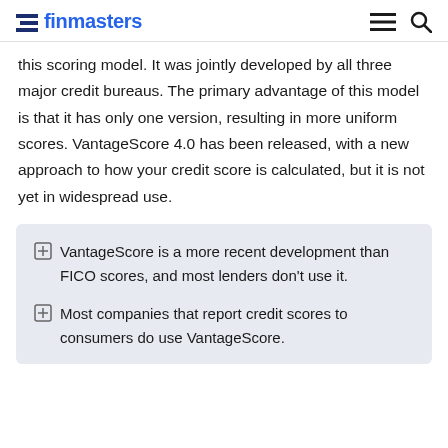finmasters
this scoring model. It was jointly developed by all three major credit bureaus. The primary advantage of this model is that it has only one version, resulting in more uniform scores. VantageScore 4.0 has been released, with a new approach to how your credit score is calculated, but it is not yet in widespread use.
VantageScore is a more recent development than FICO scores, and most lenders don't use it.
Most companies that report credit scores to consumers do use VantageScore.